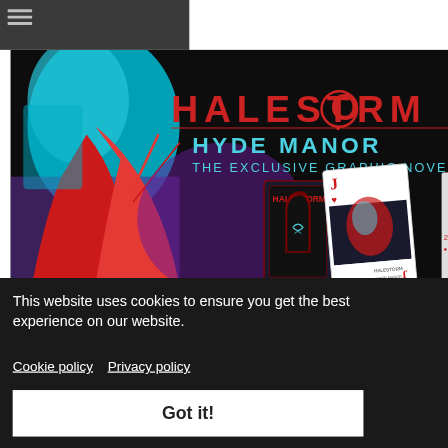Navigation header with hamburger menu
[Figure (illustration): Halestorm Hyde Manor graphic novel promotional banner featuring dark comic-book art with a figure in red and black, teal/cyan highlights, and playing cards showing 'HALESTORM HYDE MANOR THE EXCLUSIVE GRAPHIC NOVEL']
This website uses cookies to ensure you get the best experience on our website. Cookie policy  Privacy policy
Got it!
through Hyde